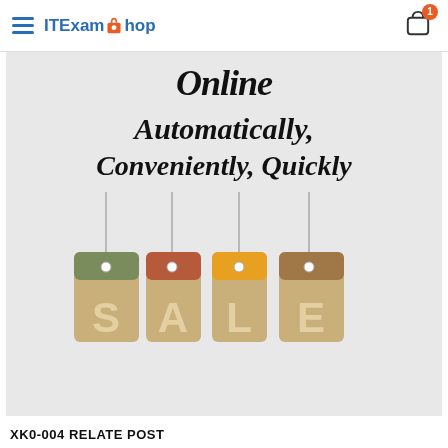ITExamShop
[Figure (illustration): Promotional banner for ITExamShop showing text 'Online Automatically, Conveniently, Quickly' above four hanging sale price tags spelling SALE on a gray background.]
XK0-004 RELATE POST